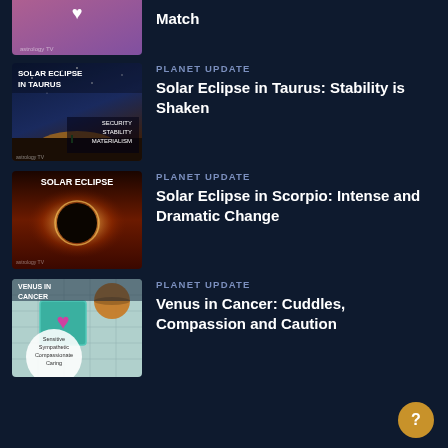[Figure (screenshot): Top partial item thumbnail with heart icon on purple/pink background]
Match
[Figure (screenshot): Solar Eclipse in Taurus thumbnail with zodiac imagery, text: SECURITY STABILITY MATERIALISM]
PLANET UPDATE
Solar Eclipse in Taurus: Stability is Shaken
[Figure (screenshot): Solar Eclipse thumbnail with dark red sky and solar corona]
PLANET UPDATE
Solar Eclipse in Scorpio: Intense and Dramatic Change
[Figure (screenshot): Venus in Cancer thumbnail with planet, heart imagery, text: Sensitive Sympathetic Compassionate Caring]
PLANET UPDATE
Venus in Cancer: Cuddles, Compassion and Caution